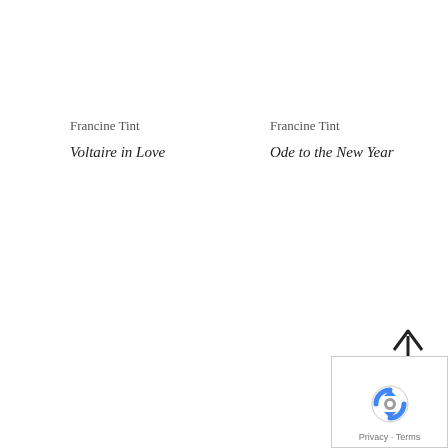Francine Tint
Voltaire in Love
Francine Tint
Ode to the New Year
[Figure (logo): reCAPTCHA logo with arrow pointing up and Privacy - Terms footer overlay in bottom right corner]